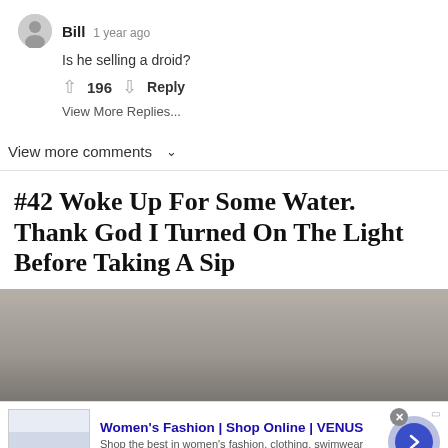Bill  1 year ago
Is he selling a droid?
↑ 196 ↓  Reply
View More Replies...
View more comments ∨
#42 Woke Up For Some Water. Thank God I Turned On The Light Before Taking A Sip
[Figure (photo): Gray-brown gradient image, appears to be a partial photo of a countertop or surface]
[Figure (screenshot): Advertisement: Women's Fashion | Shop Online | VENUS - Shop the best in women's fashion, clothing, swimwear. venus.com]